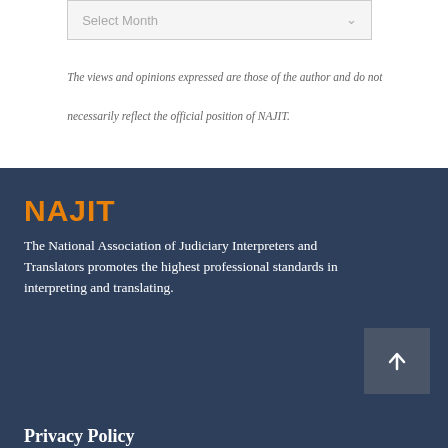[Figure (other): A dropdown/select UI element labeled 'Select Month' with a chevron arrow on the right side, with a light gray background and border]
The views and opinions expressed are those of the author and do not necessarily reflect the official position of NAJIT.
NAJIT
The National Association of Judiciary Interpreters and Translators promotes the highest professional standards in interpreting and translating.
Privacy Policy